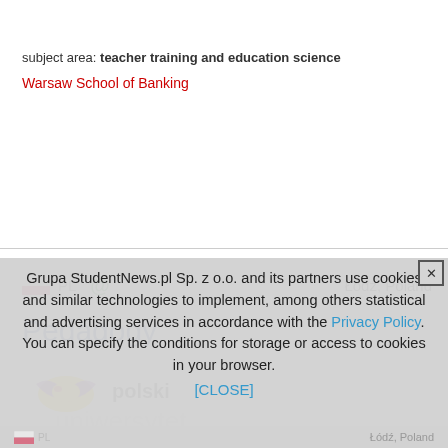subject area: teacher training and education science
Warsaw School of Banking
PL  Łódź, Poland
Pedagogy
polski
Grupa StudentNews.pl Sp. z o.o. and its partners use cookies and similar technologies to implement, among others statistical and advertising services in accordance with the Privacy Policy. You can specify the conditions for storage or access to cookies in your browser.
[CLOSE]